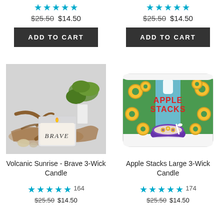★★★★★  $25.50  $14.50  ADD TO CART (left column top)
★★★★★  $25.50  $14.50  ADD TO CART (right column top)
[Figure (photo): Photo of a white ceramic candle labeled BRAVE with driftwood and green plant in background - Volcanic Sunrise Brave 3-Wick Candle]
[Figure (photo): Photo of Apple Stacks Large 3-Wick Candle with green and blue cereal-themed label showing apple rings cereal bowl and Apple Stacks text in red]
Volcanic Sunrise - Brave 3-Wick Candle
Apple Stacks Large 3-Wick Candle
★★★★★ 164  $25.50  $14.50
★★★★★ 174  $25.50  $14.50